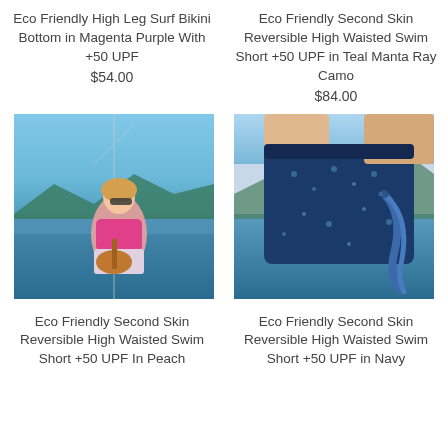Eco Friendly High Leg Surf Bikini Bottom in Magenta Purple With +50 UPF
$54.00
Eco Friendly Second Skin Reversible High Waisted Swim Short +50 UPF in Teal Manta Ray Camo
$84.00
[Figure (photo): Young woman on a sailboat playing ukulele, wearing a pink top and colorful swim shorts]
[Figure (photo): Close-up of person wearing navy patterned high-waisted swim shorts on a boat, holding ropes]
Eco Friendly Second Skin Reversible High Waisted Swim Short +50 UPF In Peach
Eco Friendly Second Skin Reversible High Waisted Swim Short +50 UPF in Navy